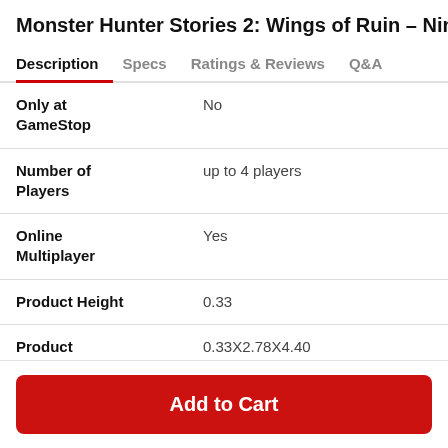Monster Hunter Stories 2: Wings of Ruin - Nintendo S
Description | Specs | Ratings & Reviews | Q&A
| Attribute | Value |
| --- | --- |
| Only at GameStop | No |
| Number of Players | up to 4 players |
| Online Multiplayer | Yes |
| Product Height | 0.33 |
| Product Dimensions: (H x W x L) | 0.33X2.78X4.40 |
Add to Cart